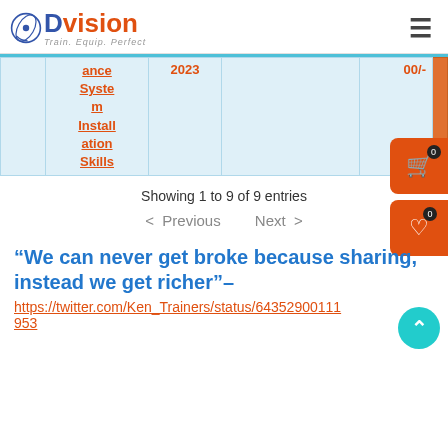D Vision — Train. Equip. Perfect.
|  | ance System Installation Skills | 2023 |  | 00/- |  |
| --- | --- | --- | --- | --- | --- |
|  | ance System Installation Skills | 2023 |  | 00/- |  |
Showing 1 to 9 of 9 entries
Previous   Next
“We can never get broke because sharing, instead we get richer”– https://twitter.com/Ken_Trainers/status/643529001110953